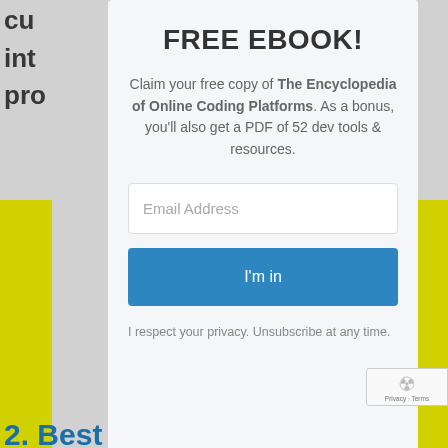inte
pro
FREE EBOOK!
Claim your free copy of The Encyclopedia of Online Coding Platforms. As a bonus, you'll also get a PDF of 52 dev tools & resources.
Email Address
I'm in
I respect your privacy. Unsubscribe at any time.
Privacy · Terms